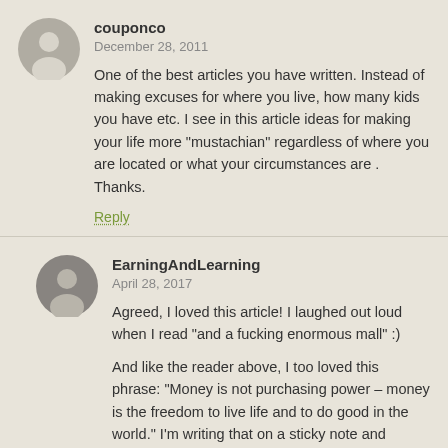couponco
December 28, 2011
One of the best articles you have written. Instead of making excuses for where you live, how many kids you have etc. I see in this article ideas for making your life more "mustachian" regardless of where you are located or what your circumstances are . Thanks.
Reply
EarningAndLearning
April 28, 2017
Agreed, I loved this article! I laughed out loud when I read "and a fucking enormous mall" :)
And like the reader above, I too loved this phrase: "Money is not purchasing power – money is the freedom to live life and to do good in the world." I'm writing that on a sticky note and putting it on my fridge to inspire me! One of the many wonderful things I've learned from your blog (reading from the beginning, and this is the last article from 2011, moving onto 2012)!